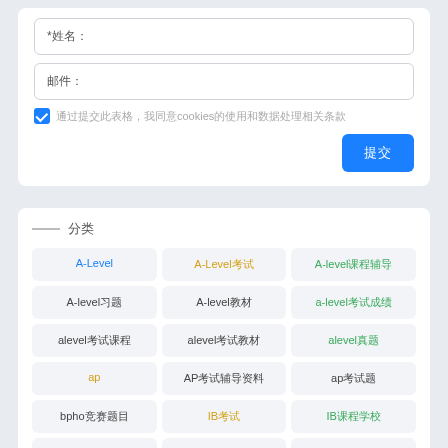[Figure (screenshot): Web form with two input fields, a checkbox with cookie consent text, and a blue submit button]
分类
| A-Level | A-Level考试 | A-level课程辅导 |
| A-level习题 | A-level教材 | a-level考试成绩 |
| alevel考试课程 | alevel考试教材 | alevel真题 |
| ap | AP考试辅导资料 | ap考试题 |
| bpho竞赛题目 | IB考试 | IB课程学校 |
| ib真题 | ib题库 | IB课程 |